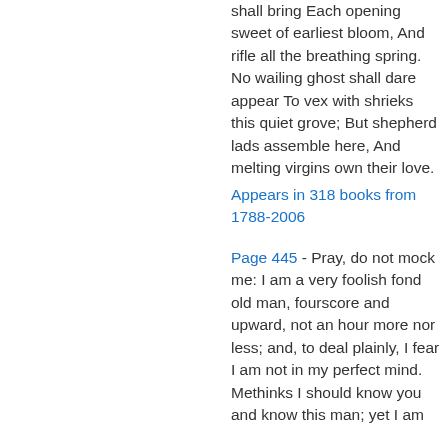shall bring Each opening sweet of earliest bloom, And rifle all the breathing spring. No wailing ghost shall dare appear To vex with shrieks this quiet grove; But shepherd lads assemble here, And melting virgins own their love.
Appears in 318 books from 1788-2006
Page 445 - Pray, do not mock me: I am a very foolish fond old man, fourscore and upward, not an hour more nor less; and, to deal plainly, I fear I am not in my perfect mind. Methinks I should know you and know this man; yet I am